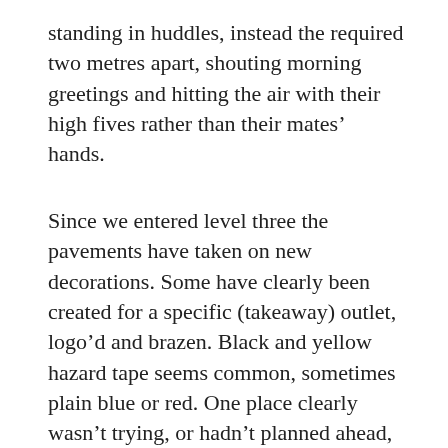standing in huddles, instead the required two metres apart, shouting morning greetings and hitting the air with their high fives rather than their mates’ hands.
Since we entered level three the pavements have taken on new decorations. Some have clearly been created for a specific (takeaway) outlet, logo’d and brazen. Black and yellow hazard tape seems common, sometimes plain blue or red. One place clearly wasn’t trying, or hadn’t planned ahead, and simply used standard brown packing tape.
Social distancing rules clearly don’t apply to shopping trolleys. Well, they barely follow the rules of forward propulsion, do they, swinging all over the place as though they have (wandering)